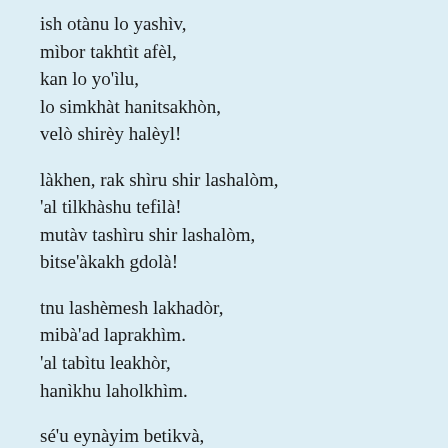ish otànu lo yashìv,
mìbor takhtìt afèl,
kan lo yo'ìlu,
lo simkhàt hanitsakhòn,
velò shirèy halèyl!

làkhen, rak shìru shir lashalòm,
'al tilkhàshu tefilà!
mutàv tashìru shir lashalòm,
bitse'àkakh gdolà!

tnu lashèmesh lakhadòr,
mibà'ad laprakhìm.
'al tabìtu leakhòr,
hanìkhu laholkhìm.

sé'u eynàyim betikvà,
lo dèrekh kavanòt
shìru shir laahavà,
velò lamilkhamòt

'al tagìdu yom yavò,
...